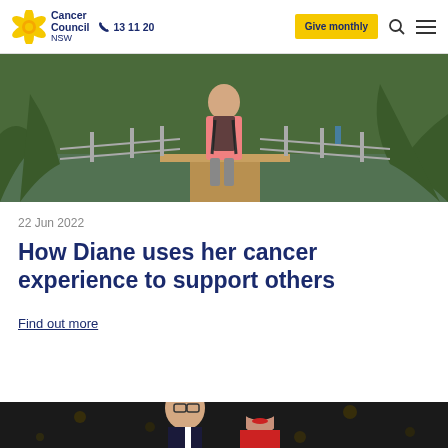Cancer Council NSW | 13 11 20 | Give monthly
[Figure (photo): Person in pink t-shirt with backpack standing on a boardwalk in a mangrove forest]
22 Jun 2022
How Diane uses her cancer experience to support others
Find out more
[Figure (photo): Man with glasses smiling next to a woman with dark hair at a formal event]